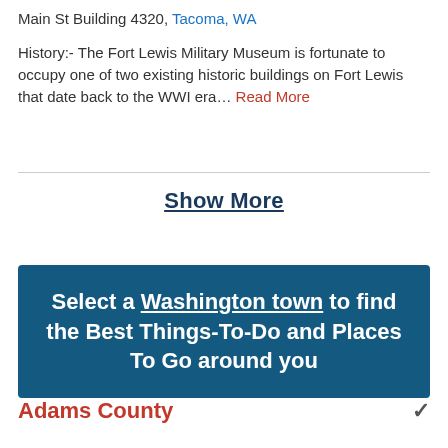Main St Building 4320, Tacoma, WA
History:- The Fort Lewis Military Museum is fortunate to occupy one of two existing historic buildings on Fort Lewis that date back to the WWI era… Read More
Show More
Select a Washington town to find the Best Things-To-Do and Places To Go around you
Adams County